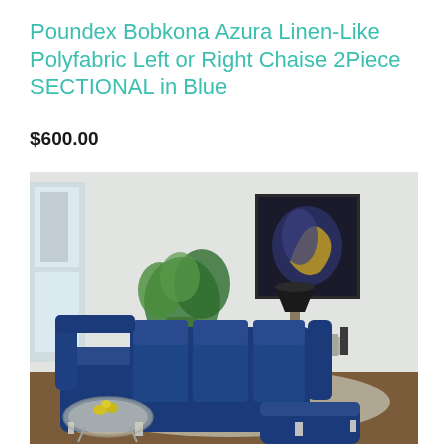Poundex Bobkona Azura Linen-Like Polyfabric Left or Right Chaise 2Piece SECTIONAL in Blue
$600.00
[Figure (photo): A blue velvet sectional sofa with left and right chaise in a modern living room setting. Background includes a potted plant, black table lamp, abstract wall art painting, and a round glass coffee table with lemons on it. The sofa is large and U-shaped in deep navy blue fabric.]